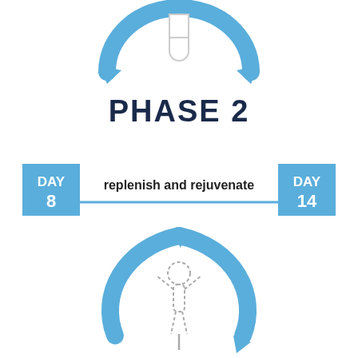[Figure (infographic): Top portion of a circular blue arrow cycle icon with a pill/capsule symbol in the center, representing a cycle or rotation. Arrows point left and right in a circular motion.]
PHASE 2
[Figure (infographic): Timeline bar from DAY 8 to DAY 14 with the label 'replenish and rejuvenate' in the middle. DAY 8 is a blue square on the left and DAY 14 is a blue square on the right, connected by a horizontal blue line with end caps.]
[Figure (infographic): A person with arms raised inside a circular blue arrow cycle, with the arrows pointing in a clockwise direction around the figure. The figure is drawn in an outline/dashed style.]